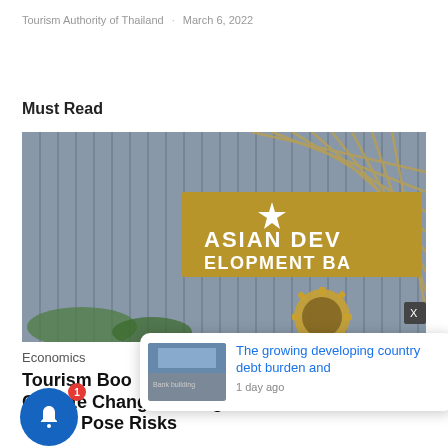Tourism Authority of Thailand · March 6, 2022
Must Read
[Figure (photo): Photo of the Asian Development Bank building facade with gold lettering sign and gear emblem]
Economics
Tourism Boost, Climate Change, Rising Prices Pose Risks